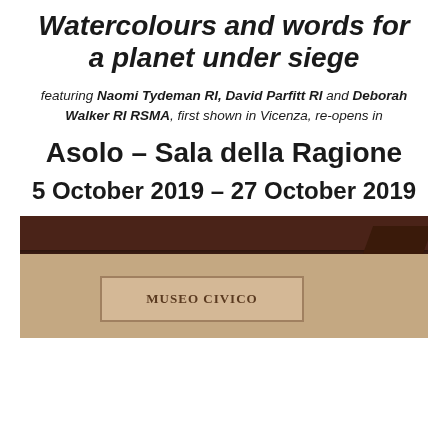Watercolours and words for a planet under siege
featuring Naomi Tydeman RI, David Parfitt RI and Deborah Walker RI RSMA, first shown in Vicenza, re-opens in
Asolo – Sala della Ragione
5 October 2019 – 27 October 2019
[Figure (photo): Photograph of the exterior of a building showing a dark wooden beam overhead and a stone wall with a sign reading 'MUSEO CIVICO']